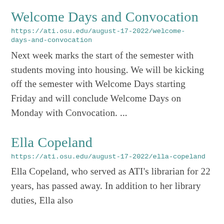Welcome Days and Convocation
https://ati.osu.edu/august-17-2022/welcome-days-and-convocation
Next week marks the start of the semester with students moving into housing. We will be kicking off the semester with Welcome Days starting Friday and will conclude Welcome Days on Monday with Convocation. ...
Ella Copeland
https://ati.osu.edu/august-17-2022/ella-copeland
Ella Copeland, who served as ATI's librarian for 22 years, has passed away. In addition to her library duties, Ella also